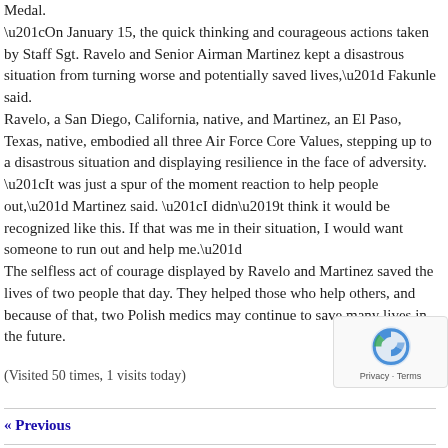Medal.
“On January 15, the quick thinking and courageous actions taken by Staff Sgt. Ravelo and Senior Airman Martinez kept a disastrous situation from turning worse and potentially saved lives,” Fakunle said.
Ravelo, a San Diego, California, native, and Martinez, an El Paso, Texas, native, embodied all three Air Force Core Values, stepping up to a disastrous situation and displaying resilience in the face of adversity.
“It was just a spur of the moment reaction to help people out,” Martinez said. “I didn’t think it would be recognized like this. If that was me in their situation, I would want someone to run out and help me.”
The selfless act of courage displayed by Ravelo and Martinez saved the lives of two people that day. They helped those who help others, and because of that, two Polish medics may continue to save many lives in the future.
(Visited 50 times, 1 visits today)
« Previous
SHARE
[Figure (other): reCAPTCHA logo with Privacy and Terms text]